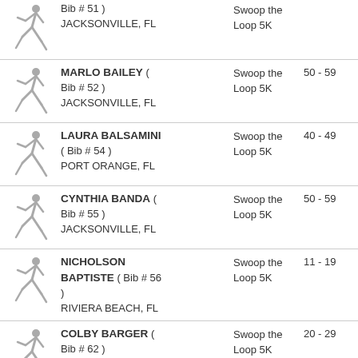Bib # 51 ) JACKSONVILLE, FL | Swoop the Loop 5K
MARLO BAILEY ( Bib # 52 ) JACKSONVILLE, FL | Swoop the Loop 5K | 50 - 59
LAURA BALSAMINI ( Bib # 54 ) PORT ORANGE, FL | Swoop the Loop 5K | 40 - 49
CYNTHIA BANDA ( Bib # 55 ) JACKSONVILLE, FL | Swoop the Loop 5K | 50 - 59
NICHOLSON BAPTISTE ( Bib # 56 ) RIVIERA BEACH, FL | Swoop the Loop 5K | 11 - 19
COLBY BARGER ( Bib # 62 ) JACKSONVILLE, FL | Swoop the Loop 5K | 20 - 29